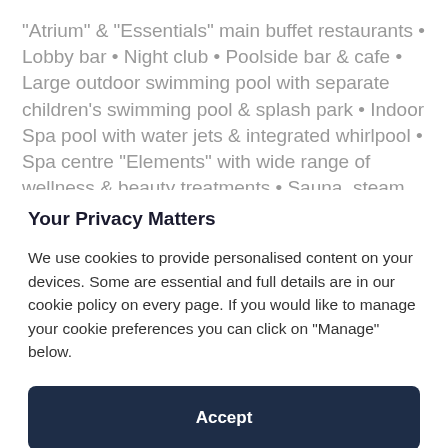"Atrium" & "Essentials" main buffet restaurants • Lobby bar • Night club • Poolside bar & cafe • Large outdoor swimming pool with separate children's swimming pool & splash park • Indoor Spa pool with water jets & integrated whirlpool • Spa centre "Elements" with wide range of wellness & beauty treatments • Sauna, steam bath, hydro massage shower, ice-fountain • Fitness •
Your Privacy Matters
We use cookies to provide personalised content on your devices. Some are essential and full details are in our cookie policy on every page. If you would like to manage your cookie preferences you can click on "Manage" below.
Accept
Manage